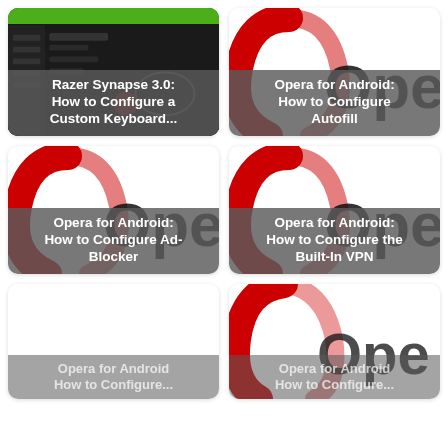[Figure (screenshot): Razer Synapse 3.0 app screenshot with green top bar and dark UI, card titled 'Razer Synapse 3.0: How to Configure a Custom Keyboard...']
[Figure (screenshot): Opera for Android logo on white background, card titled 'Opera for Android: How to Configure Autofill']
[Figure (screenshot): Opera for Android logo on white background, card titled 'Opera for Android: How to Configure Ad-Blocker']
[Figure (screenshot): Opera for Android logo on white background, card titled 'Opera for Android: How to Configure the Built-In VPN']
[Figure (screenshot): White/blank card with partial overlay text 'Opera for Android How to Configure...']
[Figure (screenshot): Opera for Android logo on white background, partial card with overlay text 'Opera for Android How to Configure...']